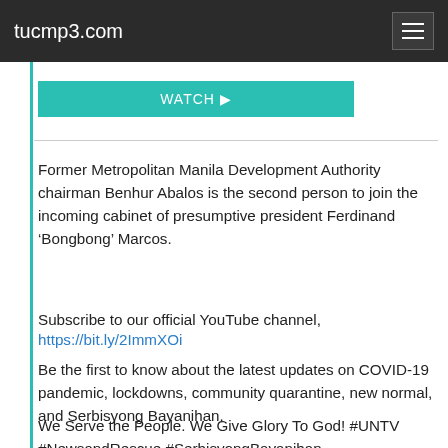tucmp3.com
[Figure (other): Teal/cyan colored button or banner element partially visible at top]
Former Metropolitan Manila Development Authority chairman Benhur Abalos is the second person to join the incoming cabinet of presumptive president Ferdinand ‘Bongbong’ Marcos.
Subscribe to our official YouTube channel, https://bit.ly/2ImmXOi
Be the first to know about the latest updates on COVID-19 pandemic, lockdowns, community quarantine, new normal, and Serbisyong Bayanihan.
We Serve the People. We Give Glory To God! #UNTV #NewsandRescue #SerbisyongBayanihan